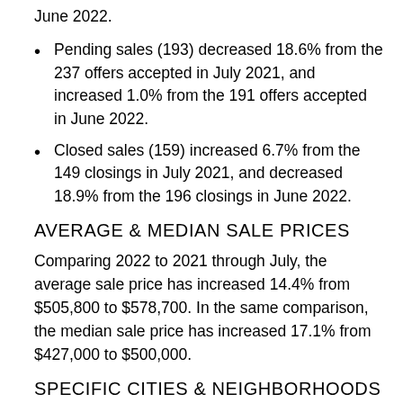June 2022.
Pending sales (193) decreased 18.6% from the 237 offers accepted in July 2021, and increased 1.0% from the 191 offers accepted in June 2022.
Closed sales (159) increased 6.7% from the 149 closings in July 2021, and decreased 18.9% from the 196 closings in June 2022.
AVERAGE & MEDIAN SALE PRICES
Comparing 2022 to 2021 through July, the average sale price has increased 14.4% from $505,800 to $578,700. In the same comparison, the median sale price has increased 17.1% from $427,000 to $500,000.
SPECIFIC CITIES & NEIGHBORHOODS
Below is a table with data for specific areas. Note that